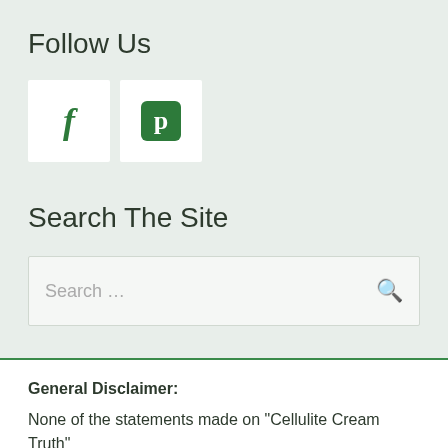Follow Us
[Figure (illustration): Two social media icon buttons: Facebook (f) and Pinterest (p) on white square backgrounds]
Search The Site
Search …
General Disclaimer:
None of the statements made on "Cellulite Cream Truth"